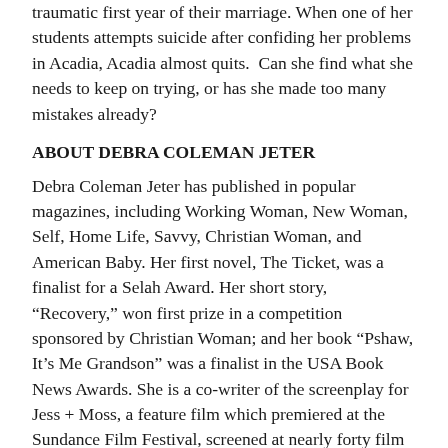traumatic first year of their marriage. When one of her students attempts suicide after confiding her problems in Acadia, Acadia almost quits.  Can she find what she needs to keep on trying, or has she made too many mistakes already?
ABOUT DEBRA COLEMAN JETER
Debra Coleman Jeter has published in popular magazines, including Working Woman, New Woman, Self, Home Life, Savvy, Christian Woman, and American Baby. Her first novel, The Ticket, was a finalist for a Selah Award. Her short story, “Recovery,” won first prize in a competition sponsored by Christian Woman; and her book “Pshaw, It’s Me Grandson” was a finalist in the USA Book News Awards. She is a co-writer of the screenplay for Jess + Moss, a feature film which premiered at the Sundance Film Festival, screened at nearly forty film festivals around the world, and captured several international awards.
www.debracolemanjeter.com